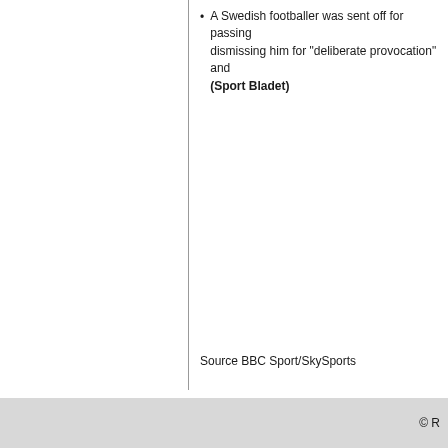A Swedish footballer was sent off for passing... dismissing him for "deliberate provocation" and ... (Sport Bladet)
Source BBC Sport/SkySports
© R